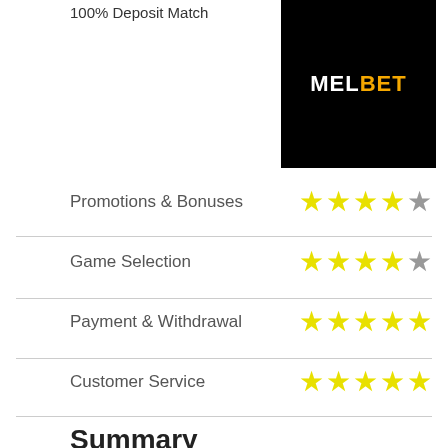100% Deposit Match
[Figure (logo): MELBET logo on black background]
| Category | Rating |
| --- | --- |
| Promotions & Bonuses | 4/5 stars |
| Game Selection | 4/5 stars |
| Payment & Withdrawal | 5/5 stars |
| Customer Service | 5/5 stars |
Summary